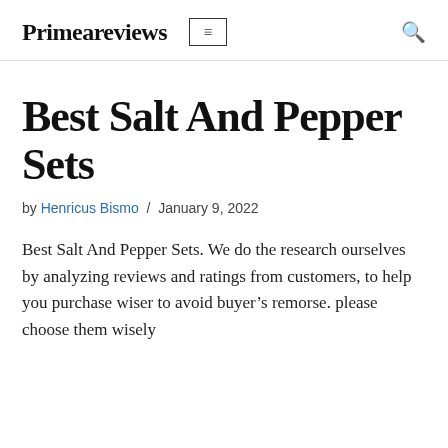Primeareviews
Best Salt And Pepper Sets
by Henricus Bismo / January 9, 2022
Best Salt And Pepper Sets. We do the research ourselves by analyzing reviews and ratings from customers, to help you purchase wiser to avoid buyer’s remorse. please choose them wisely